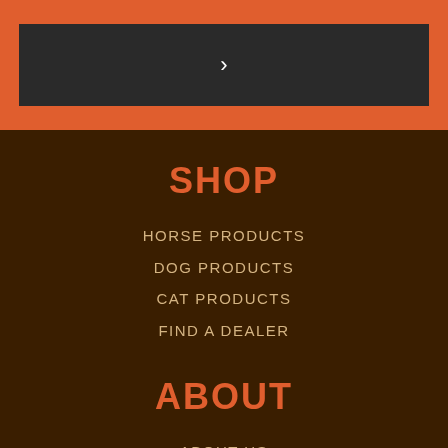›
SHOP
HORSE PRODUCTS
DOG PRODUCTS
CAT PRODUCTS
FIND A DEALER
ABOUT
ABOUT US
REVIEWS & TESTIMONIALS
100% HAPPINESS GUARANTEE
JOIN OUR AFFILIATE PROGRAM
LINKS
PRODUCT VIDEOS
FORMULATION PROCESS